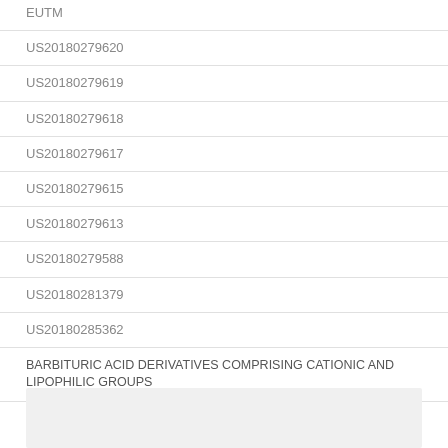EUTM
US20180279620
US20180279619
US20180279618
US20180279617
US20180279615
US20180279613
US20180279588
US20180281379
US20180285362
BARBITURIC ACID DERIVATIVES COMPRISING CATIONIC AND LIPOPHILIC GROUPS
[Figure (other): Gray placeholder box at bottom of page]